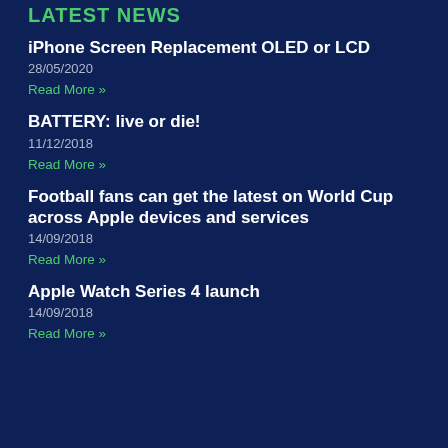LATEST NEWS
iPhone Screen Replacement OLED or LCD
28/05/2020
Read More »
BATTERY: live or die!
11/12/2018
Read More »
Football fans can get the latest on World Cup across Apple devices and services
14/09/2018
Read More »
Apple Watch Series 4 launch
14/09/2018
Read More »